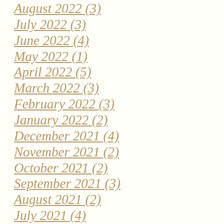August 2022 (3)
July 2022 (3)
June 2022 (4)
May 2022 (1)
April 2022 (5)
March 2022 (3)
February 2022 (3)
January 2022 (2)
December 2021 (4)
November 2021 (2)
October 2021 (2)
September 2021 (3)
August 2021 (2)
July 2021 (4)
June 2021 (3)
May 2021 (2)
April 2021 (2)
March 2021 (2)